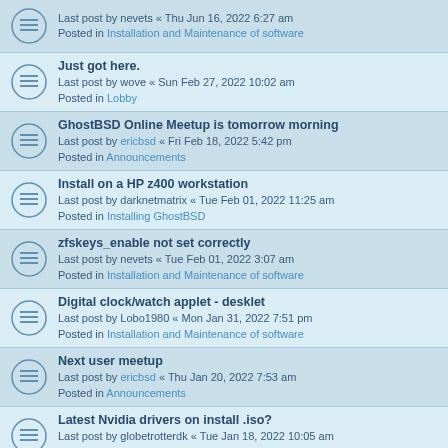Last post by nevets « Thu Jun 16, 2022 6:27 am
Posted in Installation and Maintenance of software
Just got here.
Last post by wove « Sun Feb 27, 2022 10:02 am
Posted in Lobby
GhostBSD Online Meetup is tomorrow morning
Last post by ericbsd « Fri Feb 18, 2022 5:42 pm
Posted in Announcements
Install on a HP z400 workstation
Last post by darknetmatrix « Tue Feb 01, 2022 11:25 am
Posted in Installing GhostBSD
zfskeys_enable not set correctly
Last post by nevets « Tue Feb 01, 2022 3:07 am
Posted in Installation and Maintenance of software
Digital clock/watch applet - desklet
Last post by Lobo1980 « Mon Jan 31, 2022 7:51 pm
Posted in Installation and Maintenance of software
Next user meetup
Last post by ericbsd « Thu Jan 20, 2022 7:53 am
Posted in Announcements
Latest Nvidia drivers on install .iso?
Last post by globetrotterdk « Tue Jan 18, 2022 10:05 am
Posted in Installing GhostBSD
Jdownloader 2 on Ghosbsd
Last post by Batmanxxx3 « Tue Jan 18, 2022 9:24 am
Posted in Installation and Maintenance of software